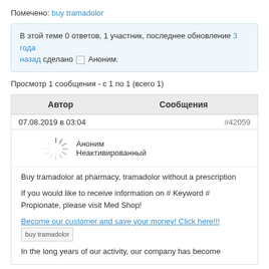Помечено: buy tramadolor
В этой теме 0 ответов, 1 участник, последнее обновление 3 года назад сделано Аноним.
Просмотр 1 сообщения - с 1 по 1 (всего 1)
| Автор | Сообщения |
| --- | --- |
| 07.08.2019 в 03:04 | #42059 |
| Аноним
Неактивированный |  |
| Buy tramadolor at pharmacy, tramadolor without a prescription

If you would like to receive information on # Keyword # Propionate, please visit Med Shop!

Become our customer and save your money! Click here!!!
[buy tramadolor]

In the long years of our activity, our company has become |  |
In the long years of our activity, our company has become